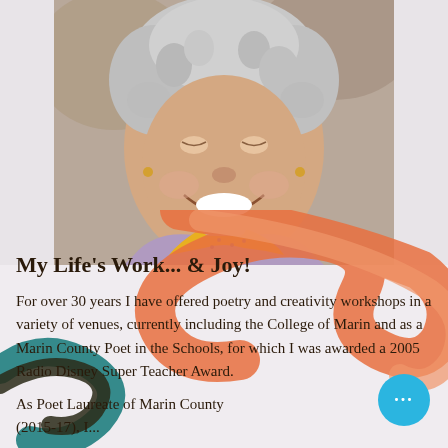[Figure (photo): Portrait photo of an older woman with curly gray-white hair, smiling broadly, wearing a lavender sleeveless top and a yellow floral scarf/bandana around her neck. The background is slightly blurred outdoor foliage.]
[Figure (illustration): Decorative swirling abstract paint strokes in orange, coral, and teal/dark green colors behind the text section.]
My Life's Work... & Joy!
For over 30 years I have offered poetry and creativity workshops in a variety of venues, currently including the College of Marin and as a Marin County Poet in the Schools, for which I was awarded a 2005 Radio Disney Super Teacher Award.
As Poet Laureate of Marin County (2015-17), I...